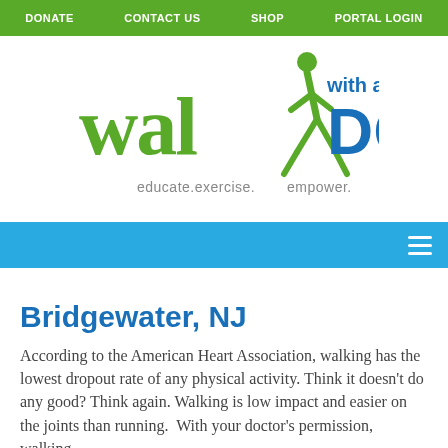DONATE | CONTACT US | SHOP | PORTAL LOGIN
[Figure (logo): Walk with a Doc logo — green stylized walking figure with 'walk' in green and 'with a DOC' in blue, tagline 'educate.exercise. empower.' in grey]
(blue navigation bar with hamburger menu icon)
Bridgewater, NJ
According to the American Heart Association, walking has the lowest dropout rate of any physical activity. Think it doesn't do any good? Think again. Walking is low impact and easier on the joints than running.  With your doctor's permission, walking